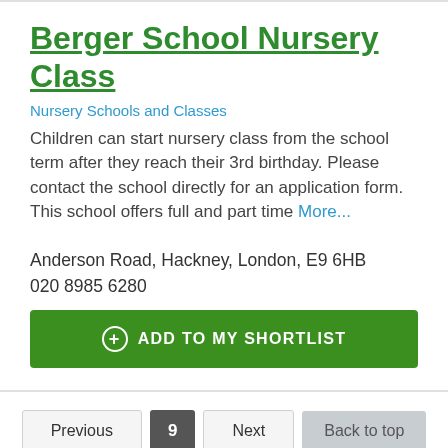Berger School Nursery Class
Nursery Schools and Classes
Children can start nursery class from the school term after they reach their 3rd birthday. Please contact the school directly for an application form. This school offers full and part time More...
Anderson Road, Hackney, London, E9 6HB
020 8985 6280
+ ADD TO MY SHORTLIST
Previous  9  Next  Back to top